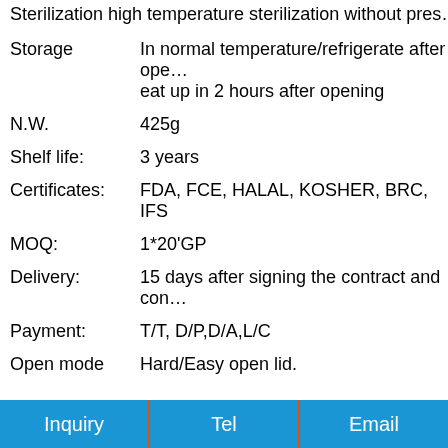Sterilization high temperature sterilization without pres...
Storage: In normal temperature/refrigerate after ope... eat up in 2 hours after opening
N.W. 425g
Shelf life: 3 years
Certificates: FDA, FCE, HALAL, KOSHER, BRC, IFS
MOQ: 1*20'GP
Delivery: 15 days after signing the contract and con...
Payment: T/T, D/P,D/A,L/C
Open mode Hard/Easy open lid.
Inquiry | Tel | Email